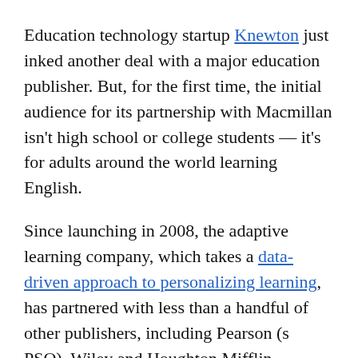Education technology startup Knewton just inked another deal with a major education publisher. But, for the first time, the initial audience for its partnership with Macmillan isn't high school or college students — it's for adults around the world learning English.
Since launching in 2008, the adaptive learning company, which takes a data-driven approach to personalizing learning, has partnered with less than a handful of other publishers, including Pearson (s PSO), Wiley and Houghton Mifflin Harcourt. Its latest partnership shows that its not only making headway in the domestic K-12 and higher education markets, but that it's extending its reach overseas and among markets that have been slower to go digital.
“Today, ELT [English Language Teaching] is all offline,” said David Liu, Knewton’s COO. “[Macmillan is] creating